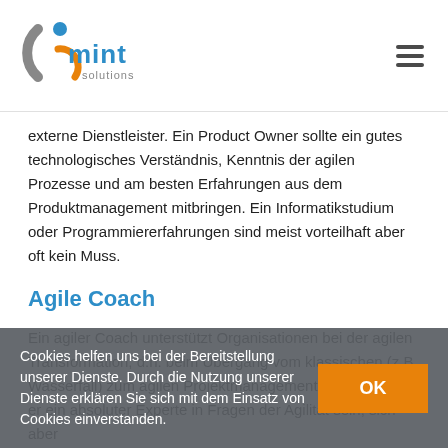MINT solutions
externe Dienstleister. Ein Product Owner sollte ein gutes technologisches Verständnis, Kenntnis der agilen Prozesse und am besten Erfahrungen aus dem Produktmanagement mitbringen. Ein Informatikstudium oder Programmiererfahrungen sind meist vorteilhaft aber oft kein Muss.
Agile Coach
Ein agiler Coach unterstützt Organisationen bei der agilen Transformation, d.h. beim Übergang vom klassischen (z.B. Wasserfall) zum agilen Projektmanagement. Somit sollte er ein absoluter Experte in Fragen der Agilität sein, sich aber auch mit der Unternehmensstruktur auseinander zu setzen...
Cookies helfen uns bei der Bereitstellung unserer Dienste. Durch die Nutzung unserer Dienste erklären Sie sich mit dem Einsatz von Cookies einverstanden.